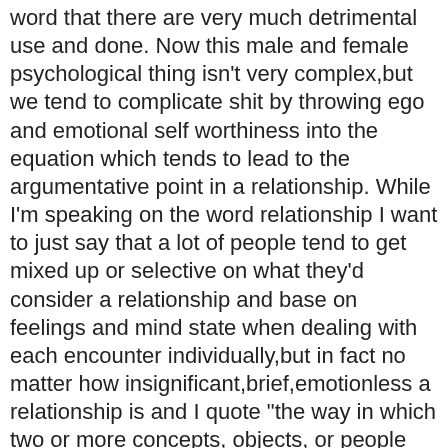word that there are very much detrimental use and done. Now this male and female psychological thing isn't very complex,but we tend to complicate shit by throwing ego and emotional self worthiness into the equation which tends to lead to the argumentative point in a relationship. While I'm speaking on the word relationship I want to just say that a lot of people tend to get mixed up or selective on what they'd consider a relationship and base on feelings and mind state when dealing with each encounter individually,but in fact no matter how insignificant,brief,emotionless a relationship is and I quote "the way in which two or more concepts, objects, or people are connected, or the state of being connected." now back to what I was saying. Once we get to the argumentative state it's time to decide whether or not it's worth the stress of making or proving a point,prolonged bickering,longterm unresolved attitude issues and an overall stain on your relationship? One of the number one destroyers of a relationship is egotistical issues,one wanting to always be right and never compromise,you can't always be the one talking,because I'm pretty sure if you are then you can't possibly be listening. Communicate your concerns,no matter how you think the other may take it don't take to the streets for guidance